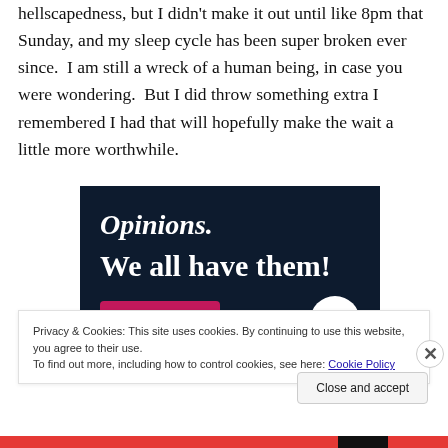hellscapedness, but I didn't make it out until like 8pm that Sunday, and my sleep cycle has been super broken ever since.  I am still a wreck of a human being, in case you were wondering.  But I did throw something extra I remembered I had that will hopefully make the wait a little more worthwhile.
[Figure (illustration): Dark navy background promotional image with text 'Opinions. We all have them!' in large white serif font, with a pink/red button element and a white circular element visible at the bottom.]
Privacy & Cookies: This site uses cookies. By continuing to use this website, you agree to their use.
To find out more, including how to control cookies, see here: Cookie Policy
Close and accept